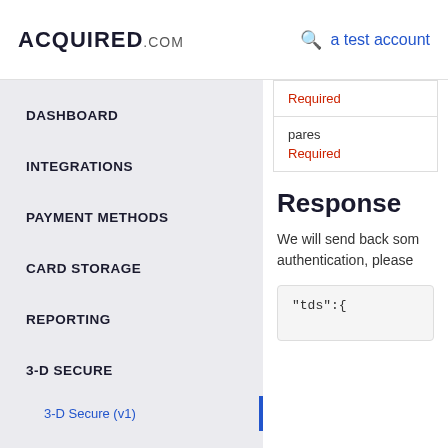ACQUIRED.com — a test account
DASHBOARD
INTEGRATIONS
PAYMENT METHODS
CARD STORAGE
REPORTING
3-D SECURE
3-D Secure (v1)
| Required |
| pares | Required |
Response
We will send back som... authentication, please
"tds":{